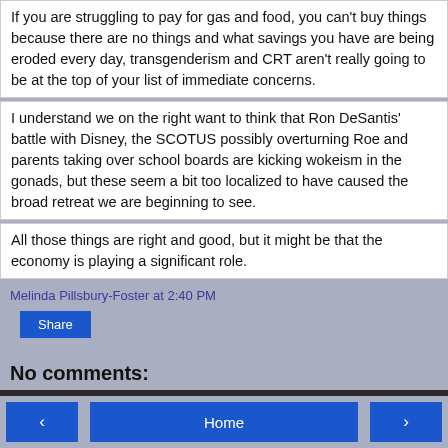If you are struggling to pay for gas and food, you can't buy things because there are no things and what savings you have are being eroded every day, transgenderism and CRT aren't really going to be at the top of your list of immediate concerns.
I understand we on the right want to think that Ron DeSantis' battle with Disney, the SCOTUS possibly overturning Roe and parents taking over school boards are kicking wokeism in the gonads, but these seem a bit too localized to have caused the broad retreat we are beginning to see.
All those things are right and good, but it might be that the economy is playing a significant role.
Melinda Pillsbury-Foster at 2:40 PM
Share
No comments:
Post a Comment